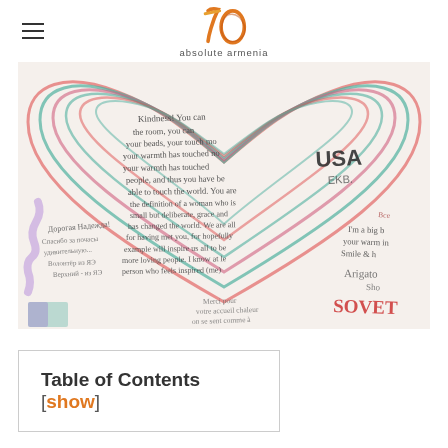absolute armenia
[Figure (photo): A whiteboard or paper surface covered in handwritten messages and notes in multiple languages including English and Russian, decorated with colorful concentric heart outlines in red, teal/blue, and pink. Messages include phrases like 'USA', 'EKB', 'Arigato', 'SOVET', and various heartfelt comments. The writing is in blue, purple, and red ink.]
Table of Contents [ show ]